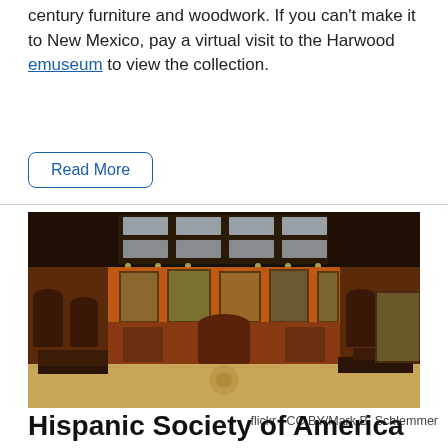century furniture and woodwork. If you can't make it to New Mexico, pay a virtual visit to the Harwood emuseum to view the collection.
Read More
[Figure (photo): Interior of a museum gallery hall with ornate dark wood carved paneling and arches, orange-toned walls, paintings on display, and skylights with track lighting above.]
flickr / CC BY/Mark B. Schlemmer
Hispanic Society of America